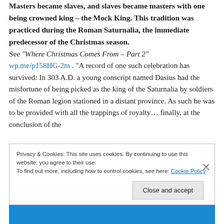Masters became slaves, and slaves became masters with one being crowned king – the Mock King. This tradition was practiced during the Roman Saturnalia, the immediate predecessor of the Christmas season. See "Where Christmas Comes From – Part 2" wp.me/p158HG-2m . "A record of one such celebration has survived: In 303 A.D. a young conscript named Dasius had the misfortune of being picked as the king of the Saturnalia by soldiers of the Roman legion stationed in a distant province. As such he was to be provided with all the trappings of royalty… finally, at the conclusion of the
Privacy & Cookies: This site uses cookies. By continuing to use this website, you agree to their use. To find out more, including how to control cookies, see here: Cookie Policy